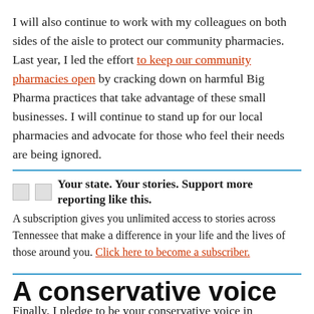I will also continue to work with my colleagues on both sides of the aisle to protect our community pharmacies. Last year, I led the effort to keep our community pharmacies open by cracking down on harmful Big Pharma practices that take advantage of these small businesses. I will continue to stand up for our local pharmacies and advocate for those who feel their needs are being ignored.
Your state. Your stories. Support more reporting like this. A subscription gives you unlimited access to stories across Tennessee that make a difference in your life and the lives of those around you. Click here to become a subscriber.
A conservative voice
Finally, I pledge to be your conservative voice in